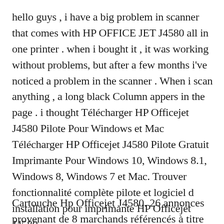hello guys , i have a big problem in scanner that comes with HP OFFICE JET J4580 all in one printer . when i bought it , it was working without problems, but after a few months i've noticed a problem in the scanner . When i scan anything , a long black Column appers in the page . i thought Télécharger HP Officejet J4580 Pilote Pour Windows et Mac Télécharger HP Officejet J4580 Pilote Gratuit Imprimante Pour Windows 10, Windows 8.1, Windows 8, Windows 7 et Mac. Trouver fonctionnalité complète pilote et logiciel d installation pour imprimante HP Officejet J4580.
Cartouche Hp Officejet J4580. 26 annonces provenant de 8 marchands référencés à titre